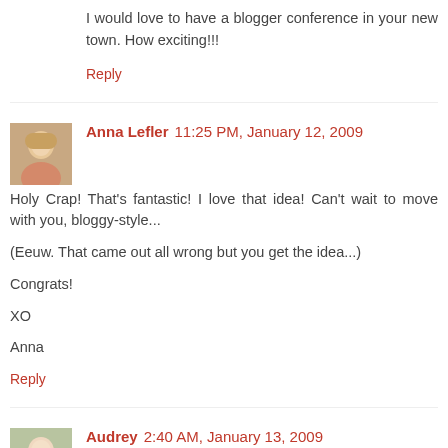I would love to have a blogger conference in your new town. How exciting!!!
Reply
Anna Lefler 11:25 PM, January 12, 2009
Holy Crap! That's fantastic! I love that idea! Can't wait to move with you, bloggy-style...

(Eeuw. That came out all wrong but you get the idea...)

Congrats!

XO

Anna
Reply
Audrey 2:40 AM, January 13, 2009
Amy, thanks for stopping by! I love your blog and